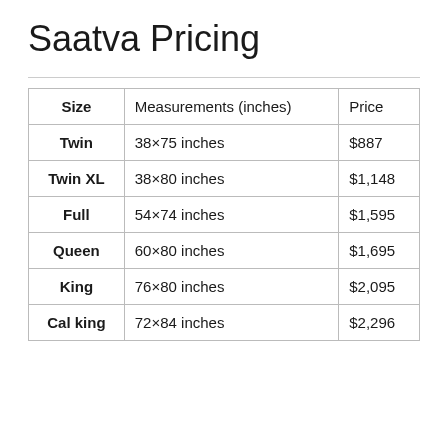Saatva Pricing
| Size | Measurements (inches) | Price |
| --- | --- | --- |
| Twin | 38×75 inches | $887 |
| Twin XL | 38×80 inches | $1,148 |
| Full | 54×74 inches | $1,595 |
| Queen | 60×80 inches | $1,695 |
| King | 76×80 inches | $2,095 |
| Cal king | 72×84 inches | $2,296 |